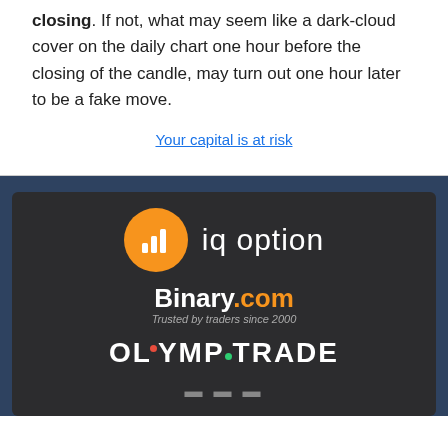closing. If not, what may seem like a dark-cloud cover on the daily chart one hour before the closing of the candle, may turn out one hour later to be a fake move.
Your capital is at risk
[Figure (logo): IQ Option logo: orange circle with bar chart icon and text 'iq option']
[Figure (logo): Binary.com logo: 'Binary.com' with orange '.com', subtext 'Trusted by traders since 2000']
[Figure (logo): OLYMPTRADE logo in white with red and green dots]